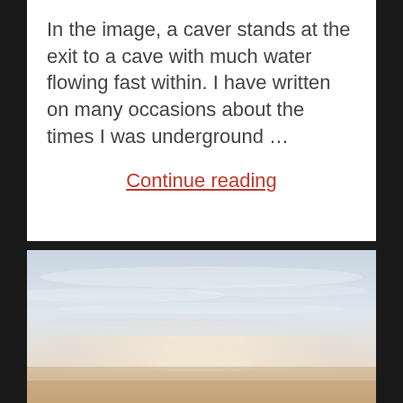In the image, a caver stands at the exit to a cave with much water flowing fast within. I have written on many occasions about the times I was underground …
Continue reading
[Figure (photo): Outdoor landscape photo showing a pale sky with light clouds and a sandy or hazy ground/horizon at the bottom. The sky is light blue-grey with soft wispy clouds. The lower portion shows a warm sandy or dusty terrain with very low visibility.]